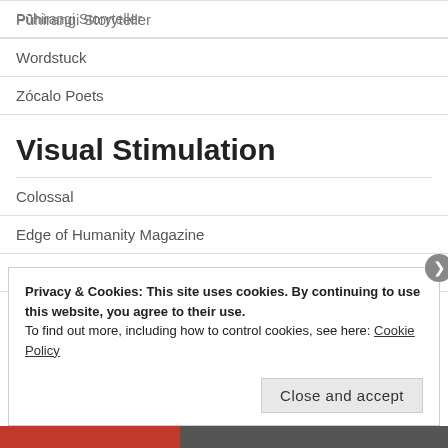Pūhirangi Storyteller
Wordstuck
Zócalo Poets
Visual Stimulation
Colossal
Edge of Humanity Magazine
Pexels
Russell Tomlin's Photostream
Privacy & Cookies: This site uses cookies. By continuing to use this website, you agree to their use.
To find out more, including how to control cookies, see here: Cookie Policy
Close and accept